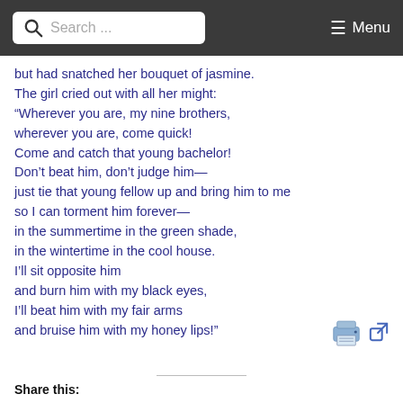Search ... Menu
but had snatched her bouquet of jasmine.
The girl cried out with all her might:
“Wherever you are, my nine brothers,
wherever you are, come quick!
Come and catch that young bachelor!
Don’t beat him, don’t judge him—
just tie that young fellow up and bring him to me
so I can torment him forever—
in the summertime in the green shade,
in the wintertime in the cool house.
I’ll sit opposite him
and burn him with my black eyes,
I’ll beat him with my fair arms
and bruise him with my honey lips!”
[Figure (other): Printer icon and external link icon]
Share this: